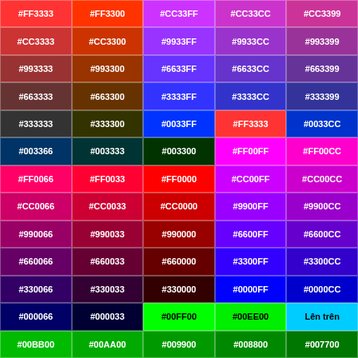| #FF3333 | #FF3300 | #CC33FF | #CC33CC | #CC3399 |
| #CC3333 | #CC3300 | #9933FF | #9933CC | #993399 |
| #993333 | #993300 | #6633FF | #6633CC | #663399 |
| #663333 | #663300 | #3333FF | #3333CC | #333399 |
| #333333 | #333300 | #0033FF | #FF3333 | #0033CC |
| #003366 | #003333 | #003300 | #FF00FF | #FF00CC |
| #FF0066 | #FF0033 | #FF0000 | #CC00FF | #CC00CC |
| #CC0066 | #CC0033 | #CC0000 | #9900FF | #9900CC |
| #990066 | #990033 | #990000 | #6600FF | #6600CC |
| #660066 | #660033 | #660000 | #3300FF | #3300CC |
| #330066 | #330033 | #330000 | #0000FF | #0000CC |
| #000066 | #000033 | #00FF00 | #00EE00 | Lên trên |
| #00BB00 | #00AA00 | #009900 | #008800 | #007700 |